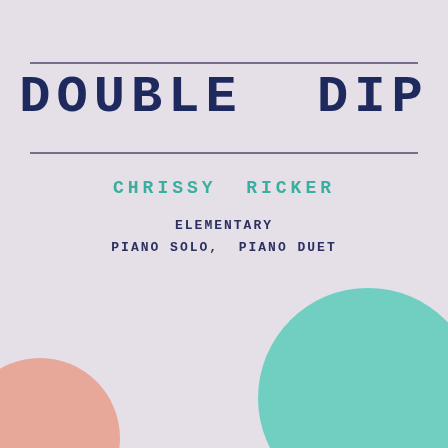DOUBLE DIP
CHRISSY RICKER
ELEMENTARY
PIANO SOLO, PIANO DUET